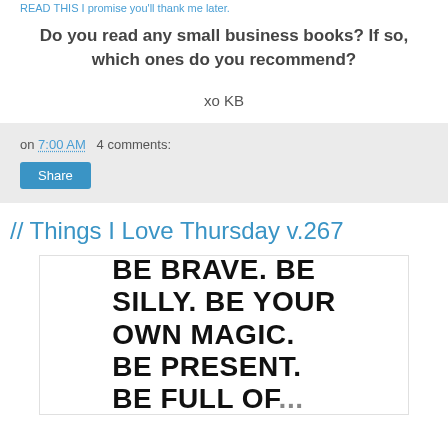READ THIS I promise you'll thank me later.
Do you read any small business books? If so, which ones do you recommend?
xo KB
on 7:00 AM   4 comments:
Share
// Things I Love Thursday v.267
[Figure (photo): White card with bold hand-drawn text reading: BE BRAVE. BE SILLY. BE YOUR OWN MAGIC. BE PRESENT. BE FULL OF...]